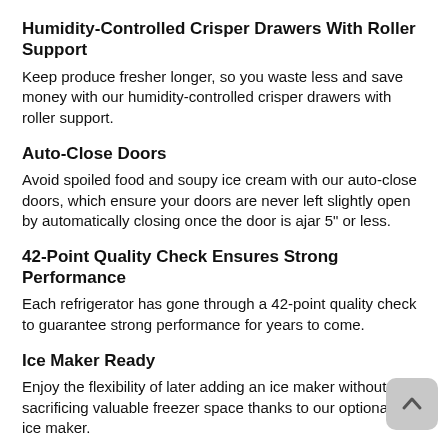Humidity-Controlled Crisper Drawers With Roller Support
Keep produce fresher longer, so you waste less and save money with our humidity-controlled crisper drawers with roller support.
Auto-Close Doors
Avoid spoiled food and soupy ice cream with our auto-close doors, which ensure your doors are never left slightly open by automatically closing once the door is ajar 5" or less.
42-Point Quality Check Ensures Strong Performance
Each refrigerator has gone through a 42-point quality check to guarantee strong performance for years to come.
Ice Maker Ready
Enjoy the flexibility of later adding an ice maker without sacrificing valuable freezer space thanks to our optional slim ice maker.